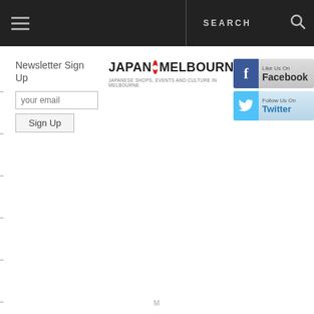SEARCH
Newsletter Sign Up
[Figure (logo): Japan in Melbourne logo with red circle and text: JAPAN IN MELBOURNE — Japanese shops, events and culture in Melbourne]
[Figure (screenshot): Like Us On Facebook button with Facebook blue icon]
[Figure (screenshot): Follow Us On Twitter button with Twitter blue bird icon]